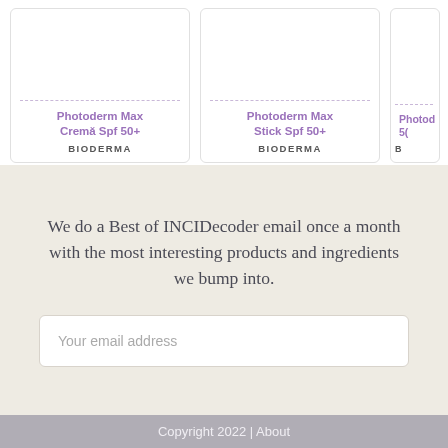[Figure (screenshot): Product cards showing Bioderma sunscreen products: 'Photoderm Max Cremă Spf 50+', 'Photoderm Max Stick Spf 50+', and a partially visible third product, all branded BIODERMA]
We do a Best of INCIDecoder email once a month with the most interesting products and ingredients we bump into.
Your email address
Copyright 2022 | About